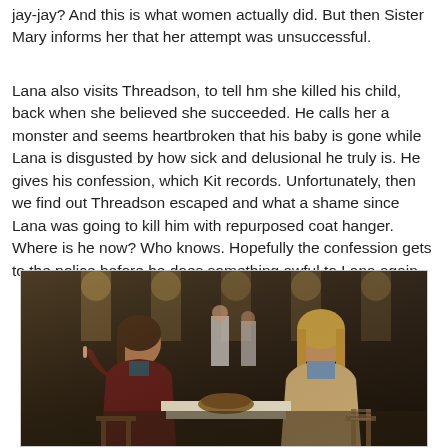jay-jay? And this is what women actually did. But then Sister Mary informs her that her attempt was unsuccessful.
Lana also visits Threadson, to tell hm she killed his child, back when she believed she succeeded. He calls her a monster and seems heartbroken that his baby is gone while Lana is disgusted by how sick and delusional he truly is. He gives his confession, which Kit records. Unfortunately, then we find out Threadson escaped and what a shame since Lana was going to kill him with repurposed coat hanger. Where is he now? Who knows. Hopefully the confession gets to the police before he does something awful to Lana again.
[Figure (photo): Two women sitting across from each other at a table in what appears to be an institutional dining hall or cafeteria with arched windows in the background. The woman on the left has dark hair and is wearing a dark red/maroon jacket, holding something small. The woman on the right has blonde hair and is wearing a light brown cardigan over a blue top. There is a bowl of food on the table between them.]